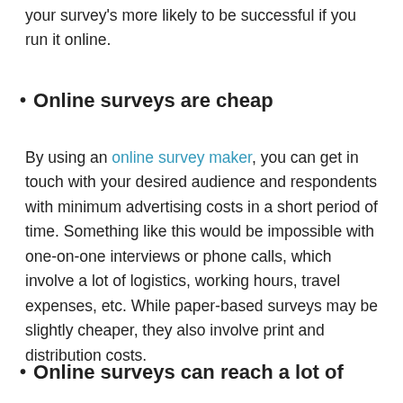your survey's more likely to be successful if you run it online.
Online surveys are cheap
By using an online survey maker, you can get in touch with your desired audience and respondents with minimum advertising costs in a short period of time. Something like this would be impossible with one-on-one interviews or phone calls, which involve a lot of logistics, working hours, travel expenses, etc. While paper-based surveys may be slightly cheaper, they also involve print and distribution costs.
Online surveys can reach a lot of